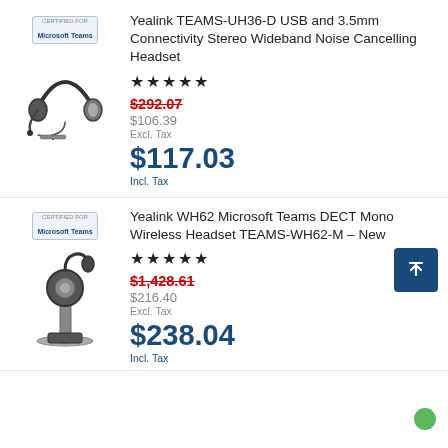[Figure (photo): Yealink TEAMS-UH36-D stereo headset with Microsoft Teams badge label]
Yealink TEAMS-UH36-D USB and 3.5mm Connectivity Stereo Wideband Noise Cancelling Headset
★★★★★
$292.07 (strikethrough, original price)
$106.39 Excl. Tax
$117.03 Incl. Tax
[Figure (photo): Yealink WH62 Microsoft Teams DECT Mono Wireless Headset on charging stand with Microsoft Teams badge label]
Yealink WH62 Microsoft Teams DECT Mono Wireless Headset TEAMS-WH62-M – New
★★★★★
$1,428.61 (strikethrough, original price)
$216.40 Excl. Tax
$238.04 Incl. Tax